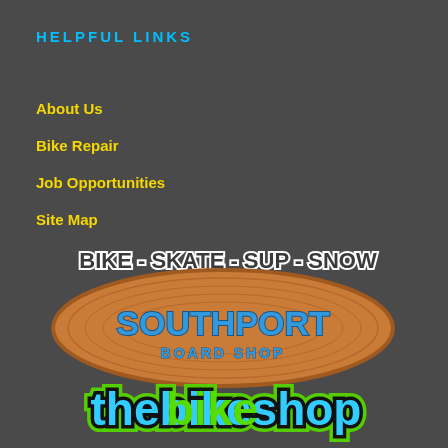HELPFUL LINKS
About Us
Bike Repair
Job Opportunities
Site Map
[Figure (logo): Southport Board Shop logo featuring an oval skateboard shape with 'BIKE - SKATE - SUP - SNOW' text above, 'SOUTHPORT BOARD SHOP' inside the oval, and 'thebikeshop' text below with green and blue styling]